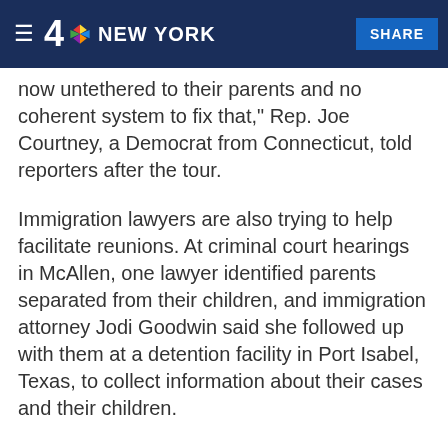4 NBC NEW YORK  SHARE
"there are still hundreds of children who are out there now untethered to their parents and no coherent system to fix that," Rep. Joe Courtney, a Democrat from Connecticut, told reporters after the tour.
Immigration lawyers are also trying to help facilitate reunions. At criminal court hearings in McAllen, one lawyer identified parents separated from their children, and immigration attorney Jodi Goodwin said she followed up with them at a detention facility in Port Isabel, Texas, to collect information about their cases and their children.
Goodwin said she has been inundated with requests from the parents, and the list is still growing.
"Once you end up talking with one parent they tell you that